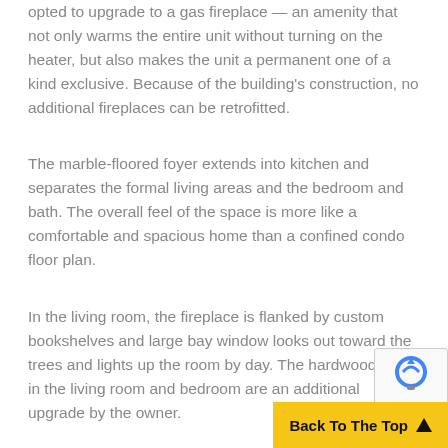opted to upgrade to a gas fireplace — an amenity that not only warms the entire unit without turning on the heater, but also makes the unit a permanent one of a kind exclusive. Because of the building's construction, no additional fireplaces can be retrofitted.
The marble-floored foyer extends into kitchen and separates the formal living areas and the bedroom and bath. The overall feel of the space is more like a comfortable and spacious home than a confined condo floor plan.
In the living room, the fireplace is flanked by custom bookshelves and large bay window looks out toward the trees and lights up the room by day. The hardwood floors in the living room and bedroom are an additional upgrade by the owner.